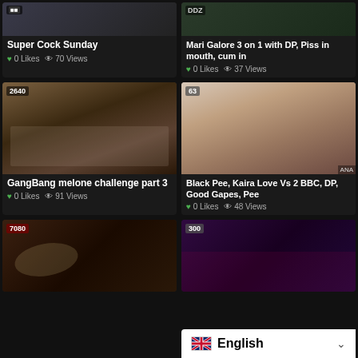[Figure (screenshot): Video thumbnail - top cropped]
Super Cock Sunday
0 Likes  70 Views
[Figure (screenshot): Video thumbnail - top cropped]
Mari Galore 3 on 1 with DP, Piss in mouth, cum in
0 Likes  37 Views
[Figure (screenshot): Video thumbnail 2640 duration - group scene]
GangBang melone challenge part 3
0 Likes  91 Views
[Figure (screenshot): Video thumbnail 63 duration]
Black Pee, Kaira Love Vs 2 BBC, DP, Good Gapes, Pee
0 Likes  48 Views
[Figure (screenshot): Video thumbnail 7080 duration - partial]
[Figure (screenshot): Video thumbnail 300 duration - partial]
English